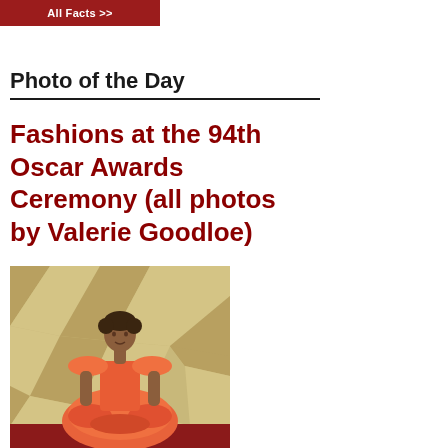All Facts >>
Photo of the Day
Fashions at the 94th Oscar Awards Ceremony (all photos by Valerie Goodloe)
[Figure (photo): Woman in orange ruffled off-shoulder gown posing on the Oscar awards red carpet, with gold geometric backdrop panels behind her.]